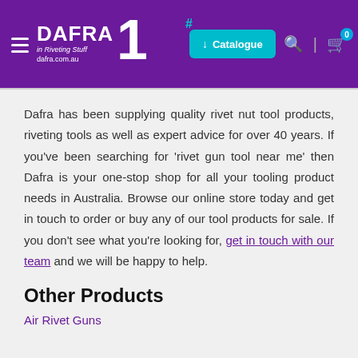[Figure (screenshot): Dafra website header with purple background, hamburger menu, Dafra #1 logo, Catalogue download button in teal, search icon, and cart icon with badge showing 0]
Dafra has been supplying quality rivet nut tool products, riveting tools as well as expert advice for over 40 years. If you've been searching for 'rivet gun tool near me' then Dafra is your one-stop shop for all your tooling product needs in Australia. Browse our online store today and get in touch to order or buy any of our tool products for sale. If you don't see what you're looking for, get in touch with our team and we will be happy to help.
Other Products
Air Rivet Guns